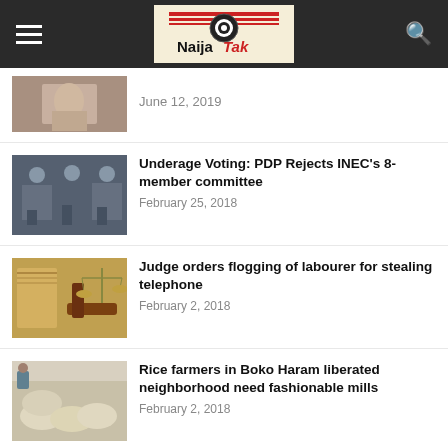NaijaTalk
June 12, 2019
Underage Voting: PDP Rejects INEC's 8-member committee
February 25, 2018
Judge orders flogging of labourer for stealing telephone
February 2, 2018
Rice farmers in Boko Haram liberated neighborhood need fashionable mills
February 2, 2018
Buhari's letter to Senate on disaster in Benue
February 2, 2018